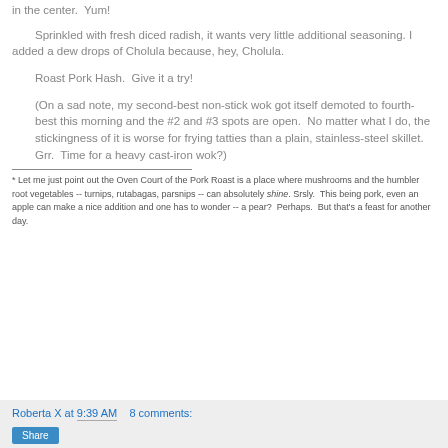in the center.  Yum!
Sprinkled with fresh diced radish, it wants very little additional seasoning. I added a dew drops of Cholula because, hey, Cholula.
Roast Pork Hash.  Give it a try!
(On a sad note, my second-best non-stick wok got itself demoted to fourth-best this morning and the #2 and #3 spots are open.  No matter what I do, the stickingness of it is worse for frying tatties than a plain, stainless-steel skillet.  Grr.  Time for a heavy cast-iron wok?)
* Let me just point out the Oven Court of the Pork Roast is a place where mushrooms and the humbler root vegetables -- turnips, rutabagas, parsnips -- can absolutely shine. Srsly.  This being pork, even an apple can make a nice addition and one has to wonder -- a pear?  Perhaps.  But that's a feast for another day.
Roberta X at 9:39 AM   8 comments: